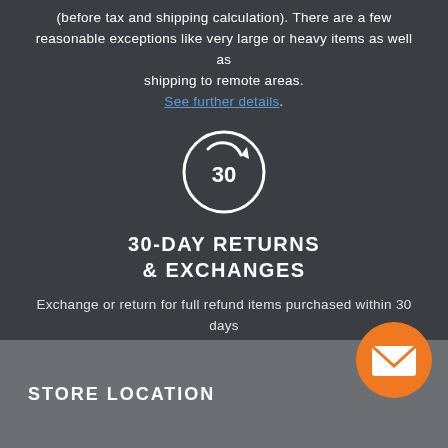(before tax and shipping calculation). There are a few reasonable exceptions like very large or heavy items as well as shipping to remote areas. See further details.
[Figure (illustration): Circle icon with '30' and a return/refresh arrow symbol, white on dark background]
30-DAY RETURNS & EXCHANGES
Exchange or return for full refund items purchased within 30 days if in unused new condition and in original packaging. See further details.
STORE LOCATION
[Figure (illustration): Orange circular button with white envelope/mail icon]